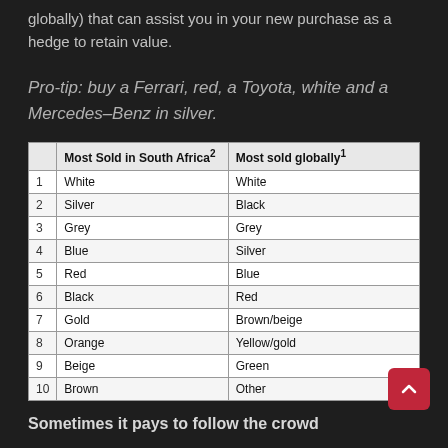globally) that can assist you in your new purchase as a hedge to retain value.
Pro-tip: buy a Ferrari, red, a Toyota, white and a Mercedes–Benz in silver.
|  | Most Sold in South Africa² | Most sold globally¹ |
| --- | --- | --- |
| 1 | White | White |
| 2 | Silver | Black |
| 3 | Grey | Grey |
| 4 | Blue | Silver |
| 5 | Red | Blue |
| 6 | Black | Red |
| 7 | Gold | Brown/beige |
| 8 | Orange | Yellow/gold |
| 9 | Beige | Green |
| 10 | Brown | Other |
Sometimes it pays to follow the crowd